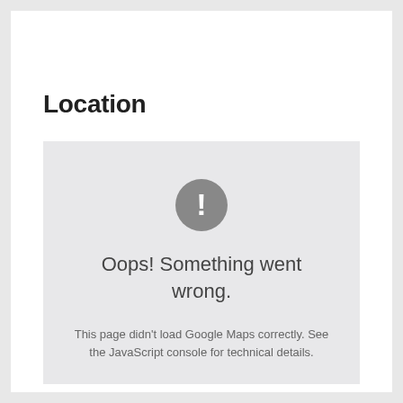Location
[Figure (other): Google Maps error box with exclamation icon, showing 'Oops! Something went wrong.' and subtext 'This page didn't load Google Maps correctly. See the JavaScript console for technical details.']